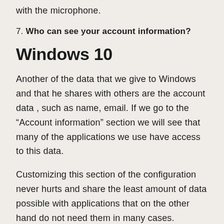with the microphone.
7. Who can see your account information?
Windows 10
Another of the data that we give to Windows and that he shares with others are the account data , such as name, email. If we go to the “Account information” section we will see that many of the applications we use have access to this data.
Customizing this section of the configuration never hurts and share the least amount of data possible with applications that on the other hand do not need them in many cases.